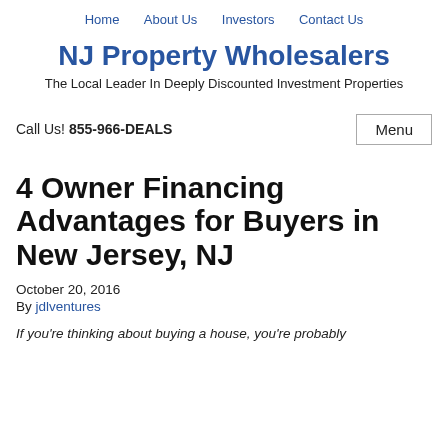Home   About Us   Investors   Contact Us
NJ Property Wholesalers
The Local Leader In Deeply Discounted Investment Properties
Call Us! 855-966-DEALS
4 Owner Financing Advantages for Buyers in New Jersey, NJ
October 20, 2016
By jdlventures
If you're thinking about buying a house, you're probably